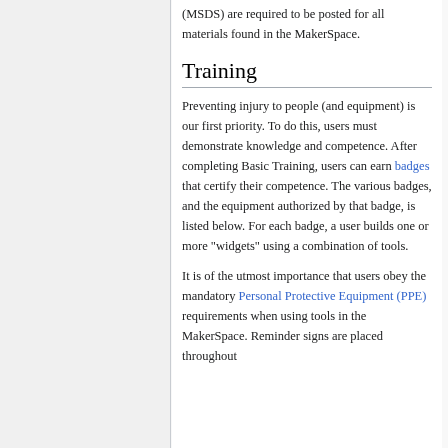The Material Safety Data Sheets (MSDS) are required to be posted for all materials found in the MakerSpace.
Training
Preventing injury to people (and equipment) is our first priority. To do this, users must demonstrate knowledge and competence. After completing Basic Training, users can earn badges that certify their competence. The various badges, and the equipment authorized by that badge, is listed below. For each badge, a user builds one or more "widgets" using a combination of tools.
It is of the utmost importance that users obey the mandatory Personal Protective Equipment (PPE) requirements when using tools in the MakerSpace. Reminder signs are placed throughout